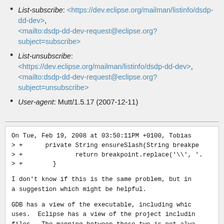List-subscribe: <https://dev.eclipse.org/mailman/listinfo/dsdp-dd-dev>, <mailto:dsdp-dd-dev-request@eclipse.org?subject=subscribe>
List-unsubscribe: <https://dev.eclipse.org/mailman/listinfo/dsdp-dd-dev>, <mailto:dsdp-dd-dev-request@eclipse.org?subject=unsubscribe>
User-agent: Mutt/1.5.17 (2007-12-11)
On Tue, Feb 19, 2008 at 03:50:11PM +0100, Tobias
> +      private String ensureSlash(String breakpo
> +              return breakpoint.replace('\\', '.
> +        }
I don't know if this is the same problem, but in a suggestion which might be helpful.
GDB has a view of the executable, including whic uses.  Eclipse has a view of the project includi files.  The mapping between these two is not alwa GDB gets its list of source files from the debug